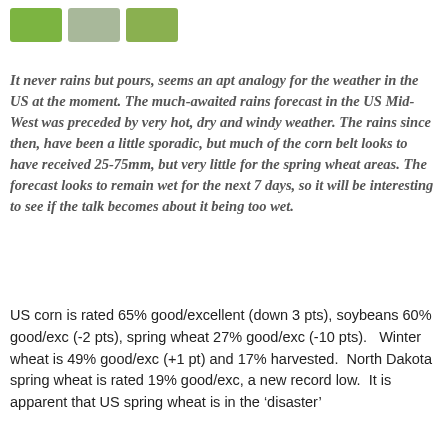[Figure (logo): Three green/olive rectangular logo blocks in a row]
It never rains but pours, seems an apt analogy for the weather in the US at the moment. The much-awaited rains forecast in the US Mid-West was preceded by very hot, dry and windy weather. The rains since then, have been a little sporadic, but much of the corn belt looks to have received 25-75mm, but very little for the spring wheat areas. The forecast looks to remain wet for the next 7 days, so it will be interesting to see if the talk becomes about it being too wet.
US corn is rated 65% good/excellent (down 3 pts), soybeans 60% good/exc (-2 pts), spring wheat 27% good/exc (-10 pts).   Winter wheat is 49% good/exc (+1 pt) and 17% harvested.  North Dakota spring wheat is rated 19% good/exc, a new record low.  It is apparent that US spring wheat is in the 'disaster'